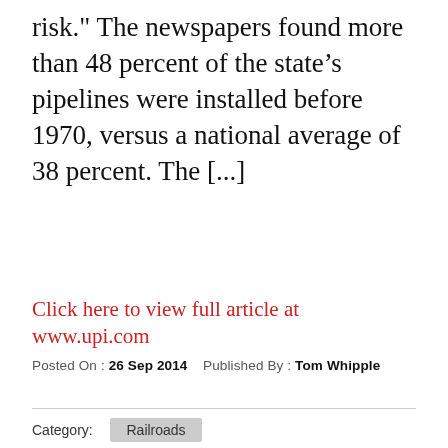risk." The newspapers found more than 48 percent of the state’s pipelines were installed before 1970, versus a national average of 38 percent. The [...]
Click here to view full article at www.upi.com
Posted On : 26 Sep 2014    Published By : Tom Whipple
Category:  Railroads
ND Regulators Hold